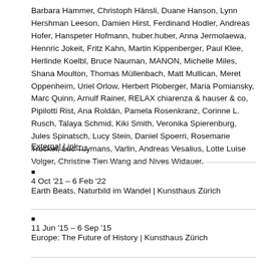Barbara Hammer, Christoph Hänsli, Duane Hanson, Lynn Hershman Leeson, Damien Hirst, Ferdinand Hodler, Andreas Hofer, Hanspeter Hofmann, huber.huber, Anna Jermolaewa, Hennric Jokeit, Fritz Kahn, Martin Kippenberger, Paul Klee, Herlinde Koelbl, Bruce Nauman, MANON, Michelle Miles, Shana Moulton, Thomas Müllenbach, Matt Mullican, Meret Oppenheim, Uriel Orlow, Herbert Ploberger, Maria Pomiansky, Marc Quinn, Arnulf Rainer, RELAX chiarenza & hauser & co, Pipilotti Rist, Ana Roldán, Pamela Rosenkranz, Corinne L. Rusch, Talaya Schmid, Kiki Smith, Veronika Spierenburg, Jules Spinatsch, Lucy Stein, Daniel Spoerri, Rosemarie Trockel, Luc Tuymans, Varlin, Andreas Vesalius, Lotte Luise Volger, Christine Tien Wang and Nives Widauer.
External Link →
4 Oct '21 – 6 Feb '22
Earth Beats, Naturbild im Wandel | Kunsthaus Zürich
11 Jun '15 – 6 Sep '15
Europe: The Future of History | Kunsthaus Zürich